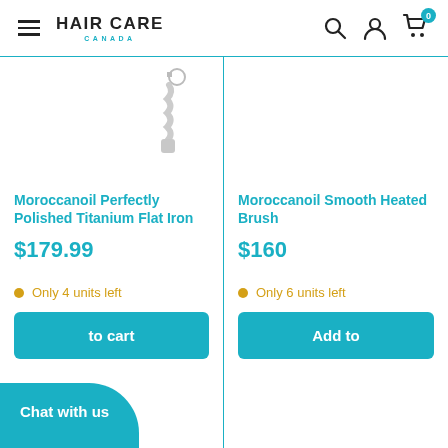HAIR CARE CANADA
[Figure (screenshot): Product card: Moroccanoil Perfectly Polished Titanium Flat Iron, $179.99, Only 4 units left, Add to cart button]
Moroccanoil Perfectly Polished Titanium Flat Iron
$179.99
Only 4 units left
[Figure (screenshot): Product card: Moroccanoil Smooth... Heated Brush, $160, Only 6 units left, Add to cart button (partially visible)]
Moroccanoil Smooth... Heated Brush
$160
Only 6 units left